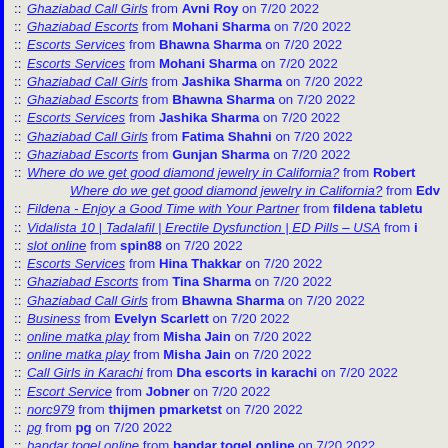:: Ghaziabad Call Girls from Avni Roy on 7/20 2022
:: Ghaziabad Escorts from Mohani Sharma on 7/20 2022
:: Escorts Services from Bhawna Sharma on 7/20 2022
:: Escorts Services from Mohani Sharma on 7/20 2022
:: Ghaziabad Call Girls from Jashika Sharma on 7/20 2022
:: Ghaziabad Escorts from Bhawna Sharma on 7/20 2022
:: Escorts Services from Jashika Sharma on 7/20 2022
:: Ghaziabad Call Girls from Fatima Shahni on 7/20 2022
:: Ghaziabad Escorts from Gunjan Sharma on 7/20 2022
:: Where do we get good diamond jewelry in California? from Robert
Where do we get good diamond jewelry in California? from Edv
:: Fildena - Enjoy a Good Time with Your Partner from fildena tabletu
:: Vidalista 10 | Tadalafil | Erectile Dysfunction | ED Pills – USA from i
:: slot online from spin88 on 7/20 2022
:: Escorts Services from Hina Thakkar on 7/20 2022
:: Ghaziabad Escorts from Tina Sharma on 7/20 2022
:: Ghaziabad Call Girls from Bhawna Sharma on 7/20 2022
:: Business from Evelyn Scarlett on 7/20 2022
:: online matka play from Misha Jain on 7/20 2022
:: online matka play from Misha Jain on 7/20 2022
:: Call Girls in Karachi from Dha escorts in karachi on 7/20 2022
:: Escort Service from Jobner on 7/20 2022
:: norc979 from thijmen pmarketst on 7/20 2022
:: pg from pg on 7/20 2022
:: bandar togel online from bandar togel online on 7/20 2022
:: Psychedelics from garyplug on 7/20 2022
:: The MetaMask Sign in accounts provide an exclusive outlet to keep
:: HOKICUAN from CUANSLOT on 7/20 2022
:: Cenforce Uses, Dosage, Side Effects ... – genericday from andrec
:: Buy All types of Medicine at Best Price Online in New York -united m